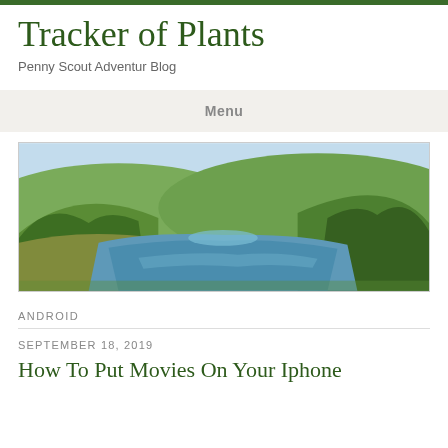Tracker of Plants
Penny Scout Adventur Blog
Menu
[Figure (photo): Panoramic landscape photo of a calm lake or reservoir surrounded by green tree-covered hills under a light blue sky. Water winds through the valley between forested slopes.]
ANDROID
SEPTEMBER 18, 2019
How To Put Movies On Your Iphone